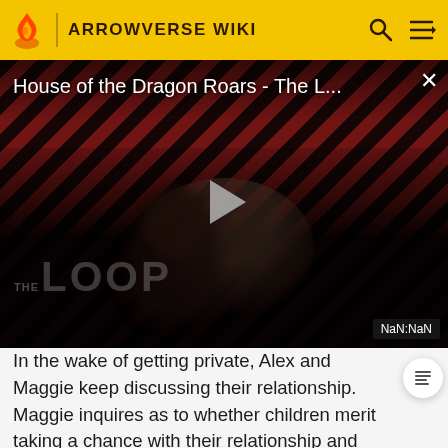ARROWVERSE WIKI
[Figure (screenshot): Video player showing 'House of the Dragon Roars - The L...' with play button, diagonal red/black striped background, dark person silhouette, THE LOOP watermark, and NaN:NaN timestamp badge]
In the wake of getting private, Alex and Maggie keep discussing their relationship. Maggie inquires as to whether children merit taking a chance with their relationship and Alex says she's for a long while been itching to be a mother.